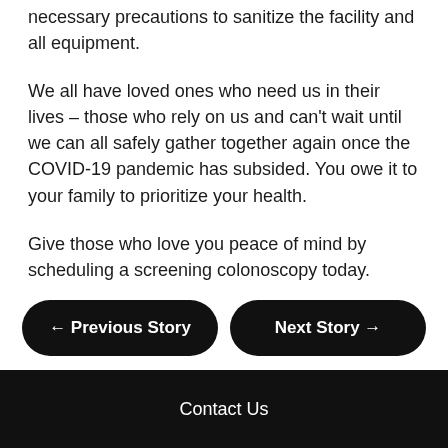necessary precautions to sanitize the facility and all equipment.
We all have loved ones who need us in their lives – those who rely on us and can't wait until we can all safely gather together again once the COVID-19 pandemic has subsided. You owe it to your family to prioritize your health.
Give those who love you peace of mind by scheduling a screening colonoscopy today.
← Previous Story
Next Story →
Contact Us